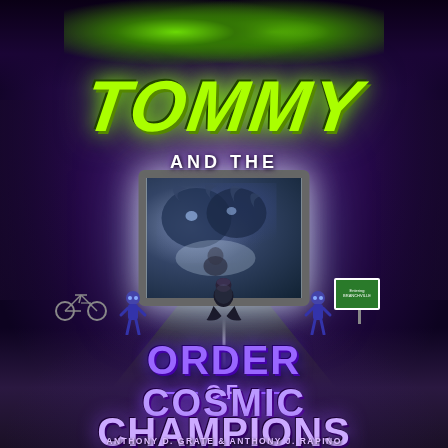[Figure (illustration): Book cover for 'Tommy and the Order of Cosmic Champions' by Anthony D. Grate & Anthony J. Rapino. Dark science fiction / fantasy illustrated cover showing a child sitting on a road watching a glowing TV screen with alien monsters, flanked by small alien hero figures, with a bicycle to the left, a road sign reading 'Entering Branchville' to the right, giant glowing eyes looming in the dark purple stormy sky above. Title 'TOMMY' in large neon yellow-green graffiti letters at top, 'AND THE' below it, then 'ORDER OF COSMIC CHAMPIONS' in large purple 3D lettering at the bottom. Authors listed at the very bottom.]